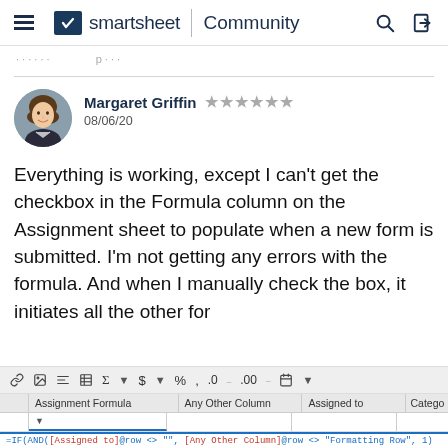smartsheet | Community
......  p. ...
[Figure (screenshot): Smartsheet community forum post by Margaret Griffin with star rating and date 08/06/20, showing a question about formula column checkbox not populating on form submission, with a spreadsheet screenshot showing Assignment Formula, Any Other Column, Assigned to, and Category columns with a formula bar showing =IF(AND([Assigned to]@row <> "", [Any Other Column]@row <> "Formatting Row", 1)]
Everything is working, except I can't get the checkbox in the Formula column on the Assignment sheet to populate when a new form is submitted. I'm not getting any errors with the formula. And when I manually check the box, it initiates all the other for